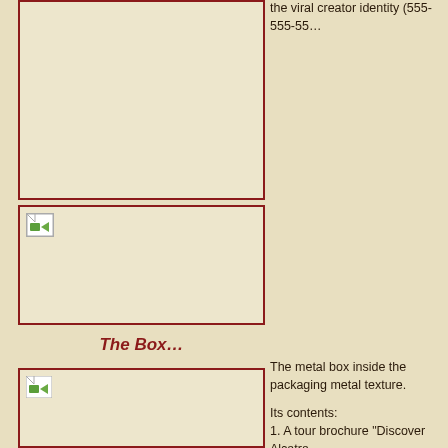the viral creator identity (555-555-55...
[Figure (photo): Large image placeholder box (top left), image not loaded]
[Figure (photo): Second image placeholder box (middle left), image not loaded with broken image icon]
The Box…
[Figure (photo): Third image placeholder box (bottom left), image not loaded with broken image icon]
The metal box inside the packaging metal texture.
Its contents:
1. A tour brochure "Discover Alcatra...
2. A decrepit white flower
3. Alcatraz branded key
4. A Ford Mustang lapel pin